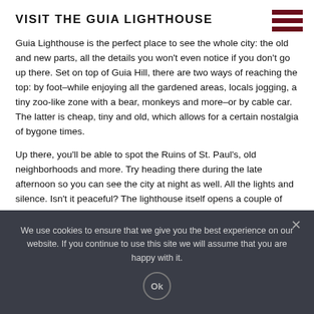VISIT THE GUIA LIGHTHOUSE
Guia Lighthouse is the perfect place to see the whole city: the old and new parts, all the details you won't even notice if you don't go up there. Set on top of Guia Hill, there are two ways of reaching the top: by foot–while enjoying all the gardened areas, locals jogging, a tiny zoo-like zone with a bear, monkeys and more–or by cable car. The latter is cheap, tiny and old, which allows for a certain nostalgia of bygone times.
Up there, you'll be able to spot the Ruins of St. Paul's, old neighborhoods and more. Try heading there during the late afternoon so you can see the city at night as well. All the lights and silence. Isn't it peaceful? The lighthouse itself opens a couple of times a year and well worth a look, so check their website for updates on opening times and days.
We use cookies to ensure that we give you the best experience on our website. If you continue to use this site we will assume that you are happy with it.